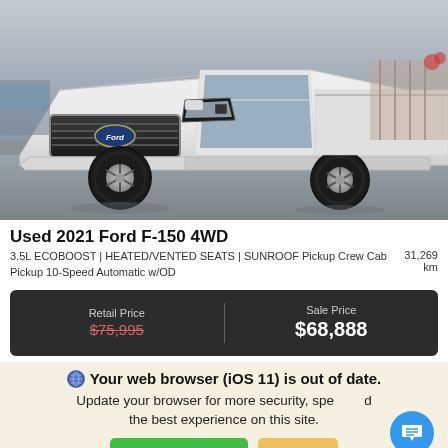[Figure (photo): Front view of a white 2021 Ford F-150 4WD truck parked on pavement, showing grille, headlights, and front wheels clearly.]
Used 2021 Ford F-150 4WD
3.5L ECOBOOST | HEATED/VENTED SEATS | SUNROOF Pickup Crew Cab Pickup 10-Speed Automatic w/OD   31,269 km
| Retail Price | Sale Price |
| --- | --- |
| $75,995 | $68,888 |
Your web browser (iOS 11) is out of date.
Update your browser for more security, speed and the best experience on this site.
Update browser   Ignore